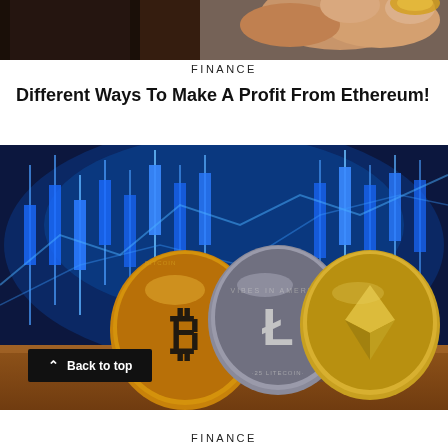[Figure (photo): Partial photo of a hand holding a coin, cropped — top portion visible only]
FINANCE
Different Ways To Make A Profit From Ethereum!
[Figure (photo): Photo of three cryptocurrency coins (Bitcoin, Litecoin, Ethereum) standing upright on a wooden surface against a blurred blue candlestick chart background, with a 'Back to top' button overlaid at the bottom left]
FINANCE